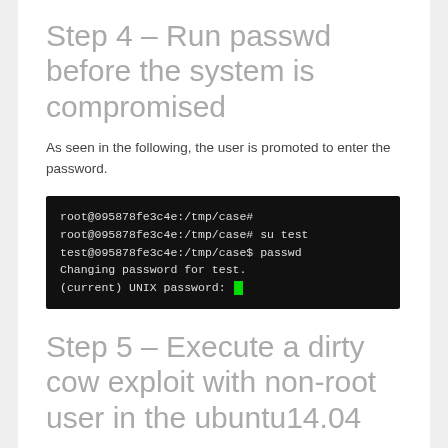Step 4 – Run passwd before the system is compromised
As seen in the following, the user is promoted to enter the password.
[Figure (screenshot): Terminal screenshot showing root and test user running passwd command. Lines: root@095878fe3c4e:/tmp/case# / root@095878fe3c4e:/tmp/case# su test / test@095878fe3c4e:/tmp/case$ passwd / Changing password for test. / (current) UNIX password: [green cursor]]
Step 5 – Execute a dirty cow exploit with non-root user in the ubuntu14.04